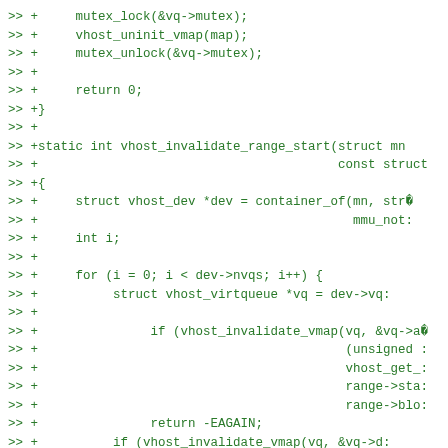Code diff showing vhost invalidate range start function implementation in C